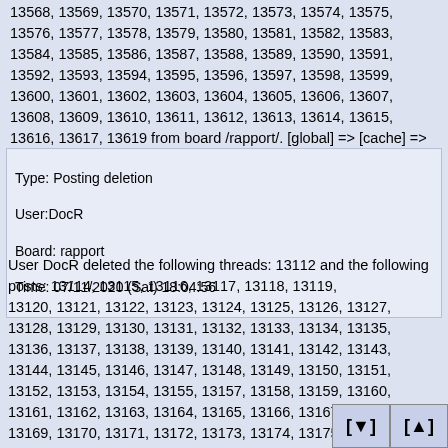13568, 13569, 13570, 13571, 13572, 13573, 13574, 13575, 13576, 13577, 13578, 13579, 13580, 13581, 13582, 13583, 13584, 13585, 13586, 13587, 13588, 13589, 13590, 13591, 13592, 13593, 13594, 13595, 13596, 13597, 13598, 13599, 13600, 13601, 13602, 13603, 13604, 13605, 13606, 13607, 13608, 13609, 13610, 13611, 13612, 13613, 13614, 13615, 13616, 13617, 13619 from board /rapport/. [global] => [cache] =>
Type: Posting deletion
User:DocR
Board: rapport
Time: 07/11/2020 (Sat) 18:04:56
User DocR deleted the following threads: 13112 and the following posts: 13114, 13115, 13116, 13117, 13118, 13119, 13120, 13121, 13122, 13123, 13124, 13125, 13126, 13127, 13128, 13129, 13130, 13131, 13132, 13133, 13134, 13135, 13136, 13137, 13138, 13139, 13140, 13141, 13142, 13143, 13144, 13145, 13146, 13147, 13148, 13149, 13150, 13151, 13152, 13153, 13154, 13155, 13157, 13158, 13159, 13160, 13161, 13162, 13163, 13164, 13165, 13166, 13167, 13168, 13169, 13170, 13171, 13172, 13173, 13174, 13175, 13176, 13177, 13178, 13179, 13180, 13181, 13182, 13183, 13184, 13185, 13186, 13187, 13188, 13189, 13190, 13191, 13192, 13193, 13194, 13195, 13196, 13197, 13198, 13199, 13200, 13201, 13202, 13203, 13204, 13205, 13206, 13207, 13208, 13209, 13210, 13211, 13212, 13213, 13214, 13215, 13216, 13217, 13218, 13219, 13220, 13221, 13222, 132... 13225, 13226, 13227, 13228, 13229, 13230, 132... 13233, 13234, 13235, 13236, 13237, 13238, 132... 13241, 13242, 13243, 13244, 13245, 13246, 13247, 13248